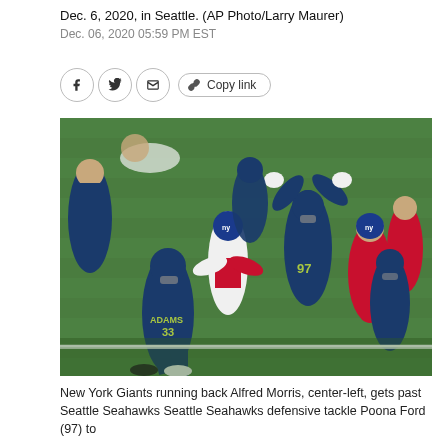Dec. 6, 2020, in Seattle. (AP Photo/Larry Maurer)
Dec. 06, 2020 05:59 PM EST
[Figure (other): Social sharing bar with Facebook, Twitter, email, copy link buttons]
[Figure (photo): NFL game action photo: New York Giants running back Alfred Morris, center-left, gets past Seattle Seahawks defensive tackle Poona Ford (97) during a game on Dec. 6, 2020 in Seattle. Players wearing Giants white uniforms and Seahawks navy uniforms on green turf. Player 33 Adams visible in foreground.]
New York Giants running back Alfred Morris, center-left, gets past Seattle Seahawks Seattle Seahawks defensive tackle Poona Ford (97) to